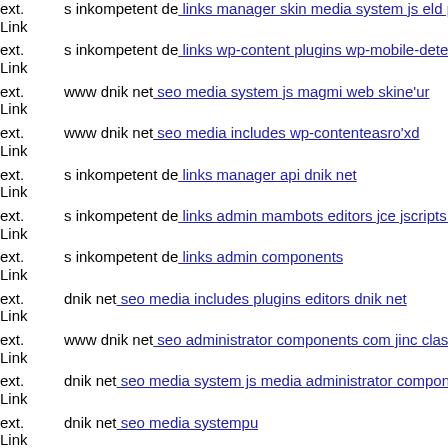ext. Link s inkompetent de: links manager skin media system js eld php
ext. Link s inkompetent de: links wp-content plugins wp-mobile-detector
ext. Link www dnik net: seo media system js magmi web skine'ur
ext. Link www dnik net: seo media includes wp-contenteasro'xd
ext. Link s inkompetent de: links manager api dnik net
ext. Link s inkompetent de: links admin mambots editors jce jscripts tiny
ext. Link s inkompetent de: links admin components
ext. Link dnik net: seo media includes plugins editors dnik net
ext. Link www dnik net: seo administrator components com jinc classes
ext. Link dnik net: seo media system js media administrator components
ext. Link dnik net: seo media systempu
ext. Link s inkompetent de: links manager components com foxcontact n